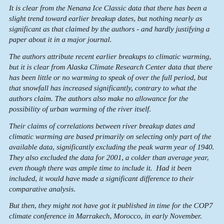It is clear from the Nenana Ice Classic data that there has been a slight trend toward earlier breakup dates, but nothing nearly as significant as that claimed by the authors - and hardly justifying a paper about it in a major journal.
The authors attribute recent earlier breakups to climatic warming, but it is clear from Alaska Climate Research Center data that there has been little or no warming to speak of over the full period, but that snowfall has increased significantly, contrary to what the authors claim. The authors also make no allowance for the possibility of urban warming of the river itself.
Their claims of correlations between river breakup dates and climatic warming are based primarily on selecting only part of the available data, significantly excluding the peak warm year of 1940. They also excluded the data for 2001, a colder than average year, even though there was ample time to include it.  Had it been included, it would have made a significant difference to their comparative analysis.
But then, they might not have got it published in time for the COP7 climate conference in Marrakech, Morocco, in early November. And it is that political imperative which seems to have underpinned what was really very sloppy science.